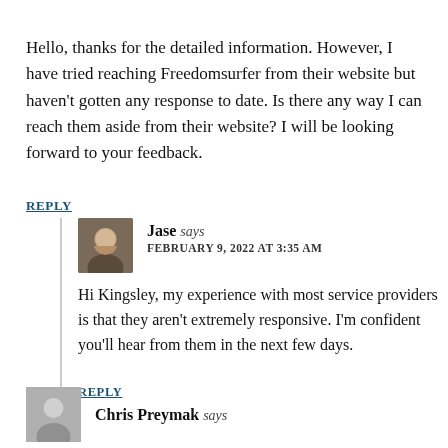Hello, thanks for the detailed information. However, I have tried reaching Freedomsurfer from their website but haven't gotten any response to date. Is there any way I can reach them aside from their website? I will be looking forward to your feedback.
REPLY
Jase says FEBRUARY 9, 2022 AT 3:35 AM
Hi Kingsley, my experience with most service providers is that they aren't extremely responsive. I'm confident you'll hear from them in the next few days.
REPLY
Chris Preymak says